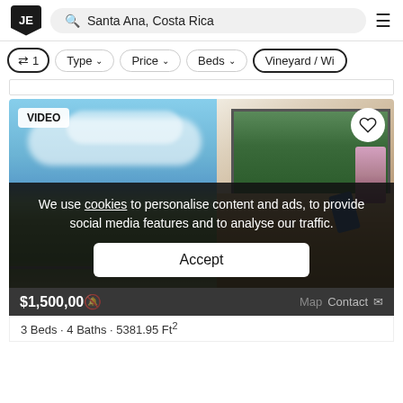JE | Q Santa Ana, Costa Rica | ≡
⇄ 1 | Type ∨ | Price ∨ | Beds ∨ | Vineyard / Wi...
[Figure (photo): Luxury villa interior with floor-to-ceiling glass walls opening to a view of lush green hills and blue sky with pool; interior shows brown leather sofas and modern decor. VIDEO badge top left, heart icon top right.]
We use cookies to personalise content and ads, to provide social media features and to analyse our traffic.
Accept
$1,500,00... Map Contact
3 Beds · 4 Baths · 5381.95 Ft²